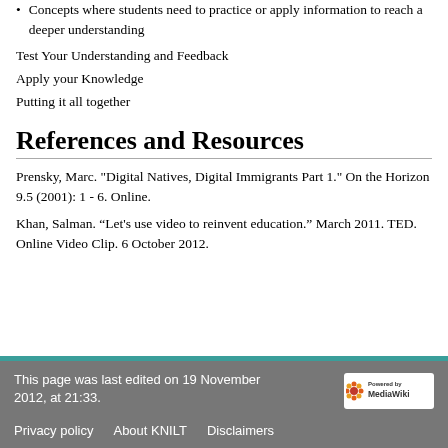Concepts where students need to practice or apply information to reach a deeper understanding
Test Your Understanding and Feedback
Apply your Knowledge
Putting it all together
References and Resources
Prensky, Marc. "Digital Natives, Digital Immigrants Part 1." On the Horizon 9.5 (2001): 1 - 6. Online.
Khan, Salman. “Let's use video to reinvent education.” March 2011. TED. Online Video Clip. 6 October 2012.
This page was last edited on 19 November 2012, at 21:33.
Privacy policy   About KNILT   Disclaimers